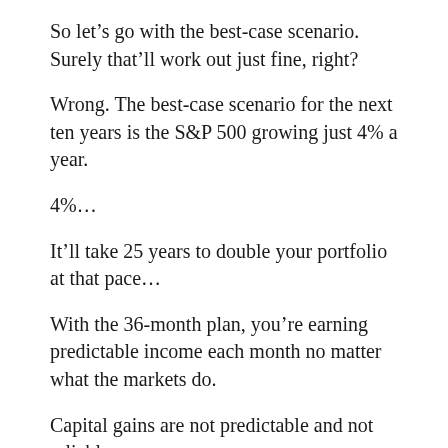So let’s go with the best-case scenario. Surely that’ll work out just fine, right?
Wrong. The best-case scenario for the next ten years is the S&P 500 growing just 4% a year.
4%…
It’ll take 25 years to double your portfolio at that pace…
With the 36-month plan, you’re earning predictable income each month no matter what the markets do.
Capital gains are not predictable and not reliable.
…thus, leaning on capital gains for